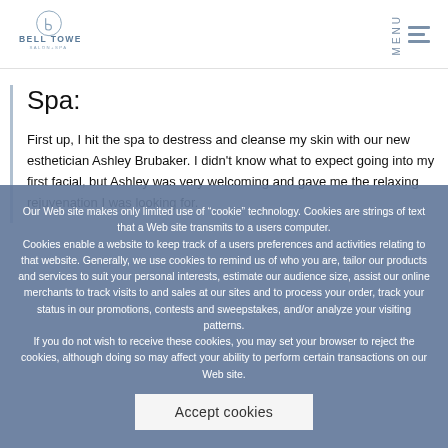Bell Tower Salon+Spa — MENU
Spa:
First up, I hit the spa to destress and cleanse my skin with our new esthetician Ashley Brubaker. I didn't know what to expect going into my first facial, but Ashley was very welcoming and gave me the relaxing rejuvenation I was looking for.
Our Web site makes only limited use of “cookie” technology. Cookies are strings of text that a Web site transmits to a users computer. Cookies enable a website to keep track of a users preferences and activities relating to that website. Generally, we use cookies to remind us of who you are, tailor our products and services to suit your personal interests, estimate our audience size, assist our online merchants to track visits to and sales at our sites and to process your order, track your status in our promotions, contests and sweepstakes, and/or analyze your visiting patterns. If you do not wish to receive these cookies, you may set your browser to reject the cookies, although doing so may affect your ability to perform certain transactions on our Web site.
Accept cookies